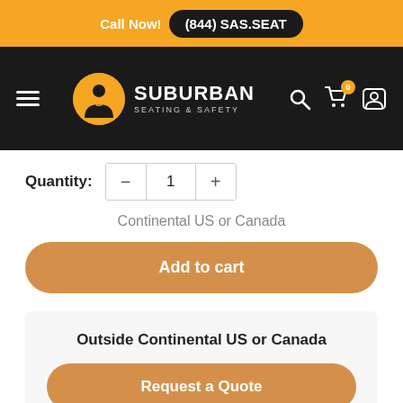Call Now! (844) SAS.SEAT
[Figure (logo): Suburban Seating & Safety logo with navigation bar including hamburger menu, cart icon with badge '0', and user icon]
Quantity: − 1 +
Continental US or Canada
Add to cart
Outside Continental US or Canada
Request a Quote